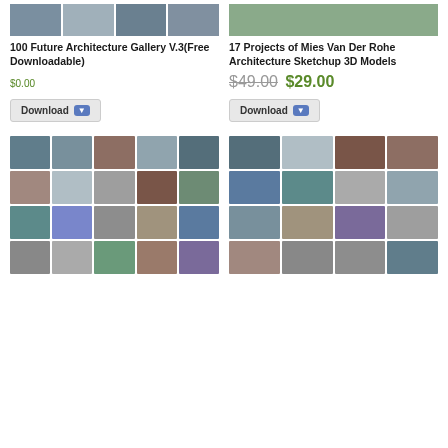[Figure (illustration): Four small architecture preview thumbnails for product 1 (top-left card)]
[Figure (illustration): Wide architecture preview image for product 2 (top-right card)]
100 Future Architecture Gallery V.3(Free Downloadable)
$0.00
Download
17 Projects of Mies Van Der Rohe Architecture Sketchup 3D Models
$49.00 $29.00
Download
[Figure (illustration): Grid of architecture images for product 1 bottom section, 4 rows x 5 columns]
[Figure (illustration): Grid of architecture images for product 2 bottom section, 4 rows x 4 columns]